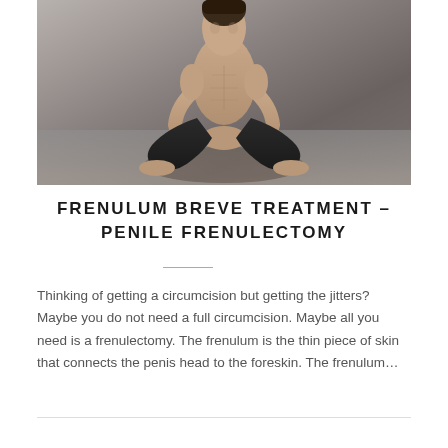[Figure (photo): A shirtless athletic man sitting cross-legged in a meditative pose against a concrete wall background]
FRENULUM BREVE TREATMENT – PENILE FRENULECTOMY
Thinking of getting a circumcision but getting the jitters? Maybe you do not need a full circumcision. Maybe all you need is a frenulectomy. The frenulum is the thin piece of skin that connects the penis head to the foreskin. The frenulum…